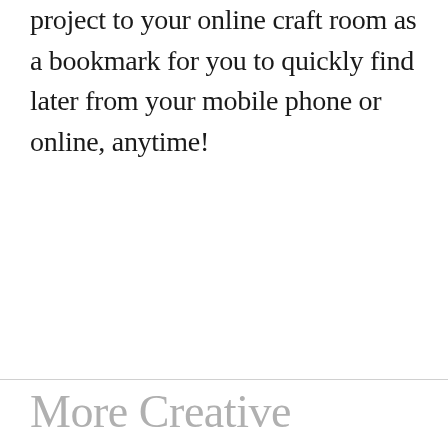project to your online craft room as a bookmark for you to quickly find later from your mobile phone or online, anytime!
More Creative